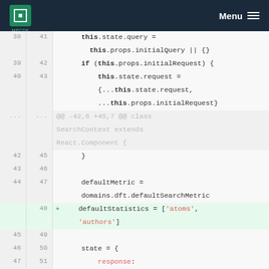[Figure (screenshot): MPCDF website navigation bar with logo and menu icon]
38  41      this.state.query =
            this.props.initialQuery || {}
39  42      if (this.props.initialRequest) {
40  43          this.state.request =
            {...this.state.request,
            ...this.props.initialRequest}
... ...  @@ -42,6 +45,7 @@ class SearchContext extends React.Component {
42  45      }
43  46
44  47      defaultMetric =
            domains.dft.defaultSearchMetric
    48  +   defaultStatistics = ['atoms',
            'authors']
45  49
46  50      state = {
47  51          response:
            SearchContext.emptyResponse,
... ...  @@ -58,6 +62,7 @@ class